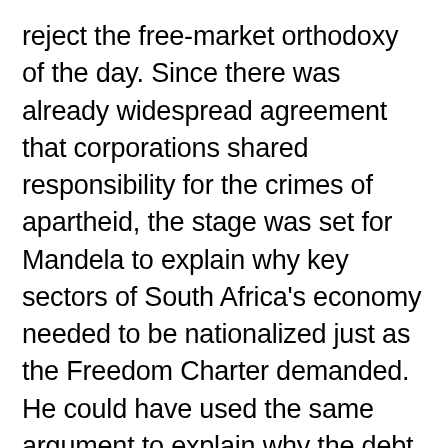reject the free-market orthodoxy of the day. Since there was already widespread agreement that corporations shared responsibility for the crimes of apartheid, the stage was set for Mandela to explain why key sectors of South Africa's economy needed to be nationalized just as the Freedom Charter demanded. He could have used the same argument to explain why the debt accumulated under apartheid was an illegitimate burden to place on any new, popularly elected government. There would have been plenty of outrage from the IMF, the U.S. Treasury and the European Union